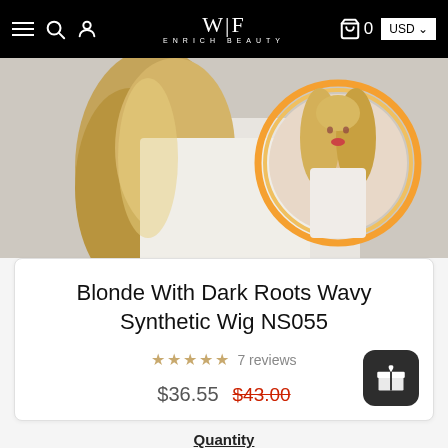WIF Enrich Beauty — Navigation bar with hamburger menu, search, user icon, cart (0), USD currency selector
[Figure (photo): Product photo of a woman with long blonde wavy hair with dark roots wearing a white outfit, with a circular inset showing a frontal view of a woman modeling the same blonde wig]
Blonde With Dark Roots Wavy Synthetic Wig NS055
7 reviews
$36.55  $43.00
Quantity